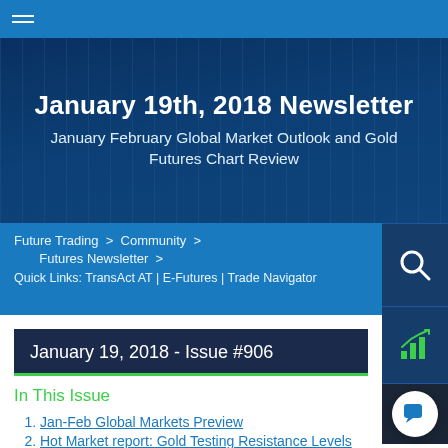January 19th, 2018 Newsletter
January February Global Market Outlook and Gold Futures Chart Review
Future Trading > Community > Futures Newsletter >
Quick Links: TransAct AT | E-Futures | Trade Navigator
January 19, 2018 - Issue #906
In This Issue
Jan-Feb Global Markets Preview
Hot Market report: Gold Testing Resistance Levels